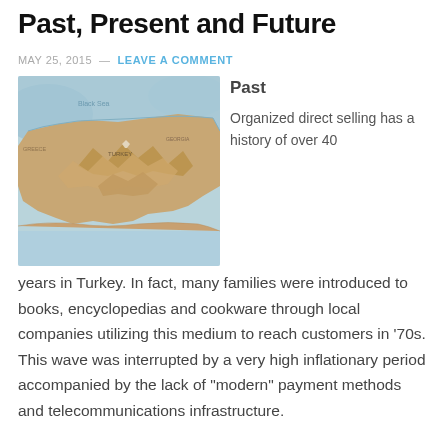Past, Present and Future
MAY 25, 2015 — LEAVE A COMMENT
[Figure (map): Close-up photograph of a relief map showing Turkey and surrounding regions, with blue water areas and brown/orange topographic terrain.]
Past
Organized direct selling has a history of over 40 years in Turkey. In fact, many families were introduced to books, encyclopedias and cookware through local companies utilizing this medium to reach customers in '70s. This wave was interrupted by a very high inflationary period accompanied by the lack of "modern" payment methods and telecommunications infrastructure.